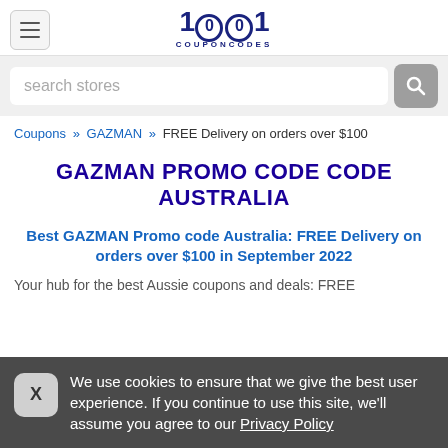[Figure (logo): 1001 CouponCodes logo with hamburger menu icon]
[Figure (screenshot): Search bar with placeholder text 'search stores' and magnifier button]
Coupons » GAZMAN » FREE Delivery on orders over $100
GAZMAN PROMO CODE CODE AUSTRALIA
Best GAZMAN Promo code Australia: FREE Delivery on orders over $100 in September 2022
Your hub for the best Aussie coupons and deals: FREE
We use cookies to ensure that we give the best user experience. If you continue to use this site, we'll assume you agree to our Privacy Policy